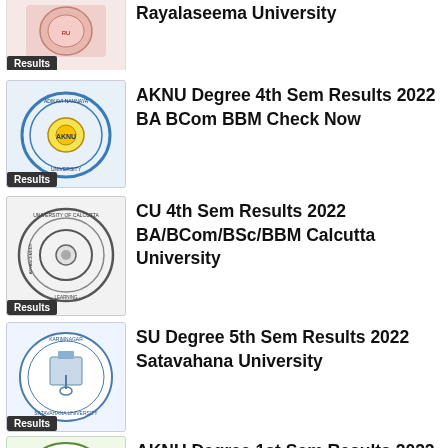[Figure (logo): Rayalaseema University logo with Results badge (partially visible at top)]
Rayalaseema University
[Figure (logo): AKNU university circular logo with Results badge]
AKNU Degree 4th Sem Results 2022 BA BCom BBM Check Now
[Figure (logo): University of Calcutta circular logo with Results badge]
CU 4th Sem Results 2022 BA/BCom/BSc/BBM Calcutta University
[Figure (logo): Satavahana University circular logo with Results badge]
SU Degree 5th Sem Results 2022 Satavahana University
[Figure (logo): AKNU / Nannaya University circular logo with Results badge (partially visible at bottom)]
AKNU Degree 1st Sem Results 2022 @nannayauniversity.info